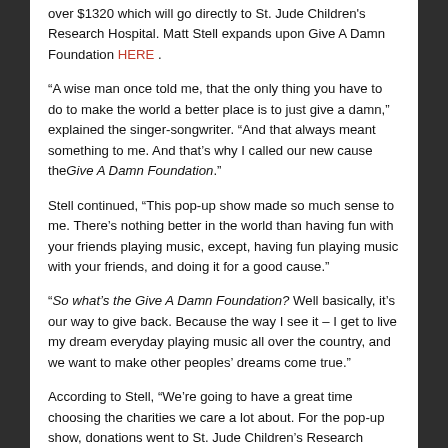over $1320 which will go directly to St. Jude Children's Research Hospital. Matt Stell expands upon Give A Damn Foundation HERE .
“A wise man once told me, that the only thing you have to do to make the world a better place is to just give a damn,” explained the singer-songwriter. “And that always meant something to me. And that’s why I called our new cause the Give A Damn Foundation.”
Stell continued, “This pop-up show made so much sense to me. There’s nothing better in the world than having fun with your friends playing music, except, having fun playing music with your friends, and doing it for a good cause.”
“So what’s the Give A Damn Foundation? Well basically, it’s our way to give back. Because the way I see it – I get to live my dream everyday playing music all over the country, and we want to make other peoples’ dreams come true.”
According to Stell, “We’re going to have a great time choosing the charities we care a lot about. For the pop-up show, donations went to St. Jude Children’s Research